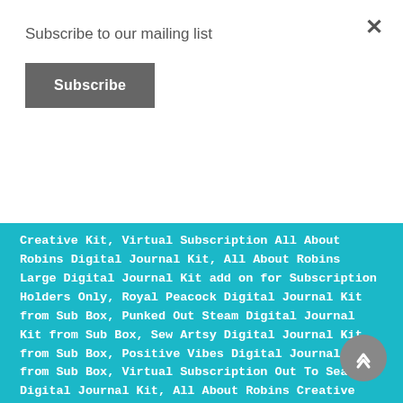Subscribe to our mailing list
Subscribe
Creative Kit, Virtual Subscription All About Robins Digital Journal Kit, All About Robins Large Digital Journal Kit add on for Subscription Holders Only, Royal Peacock Digital Journal Kit from Sub Box, Punked Out Steam Digital Journal Kit from Sub Box, Sew Artsy Digital Journal Kit from Sub Box, Positive Vibes Digital Journal Kit from Sub Box, Virtual Subscription Out To Sea Digital Journal Kit, All About Robins Creative Kit, Christmas Peacock Creative Kit, Out To Sea Creative Kit, Virtual Subscription Punked Out Steam Too Digital Journal Kit, Punked Out Steam Too Creative Kit, Virtual Subscription A Christmas Dream Journal Kit, Virtual Subscription Enchanted Rose Journal Kit, Virtual Subscription Dancing Dragonflies Journal Kit, Dancing Dragonflies Creative Kit, Virtual Subscription Garden Tea Party Journal Kit, Garden...